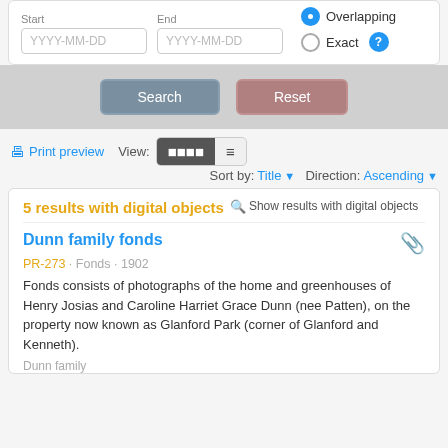[Figure (screenshot): Date range form with Start and End date inputs (YYYY-MM-DD placeholder), radio buttons for Overlapping (selected) and Exact, and a help icon]
[Figure (screenshot): Search and Reset buttons on grey background]
Print preview  View:  Sort by: Title ▼  Direction: Ascending ▼
5 results with digital objects  🔍 Show results with digital objects
Dunn family fonds
PR-273 · Fonds · 1902
Fonds consists of photographs of the home and greenhouses of Henry Josias and Caroline Harriet Grace Dunn (nee Patten), on the property now known as Glanford Park (corner of Glanford and Kenneth).
Dunn family